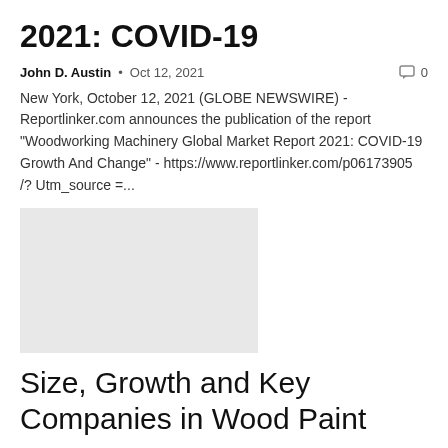2021: COVID-19
John D. Austin • Oct 12, 2021  🗨 0
New York, October 12, 2021 (GLOBE NEWSWIRE) - Reportlinker.com announces the publication of the report "Woodworking Machinery Global Market Report 2021: COVID-19 Growth And Change" - https://www.reportlinker.com/p06173905 /? Utm_source =...
[Figure (photo): Gray placeholder image box]
Size, Growth and Key Companies in Wood Paint